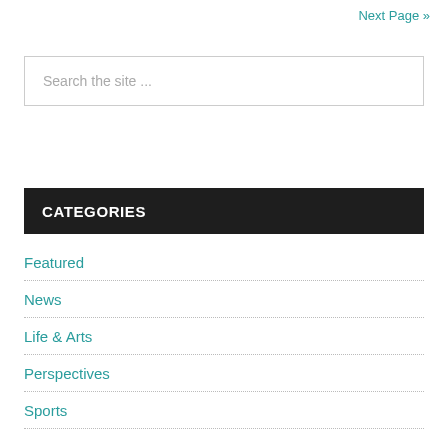Next Page »
Search the site ...
CATEGORIES
Featured
News
Life & Arts
Perspectives
Sports